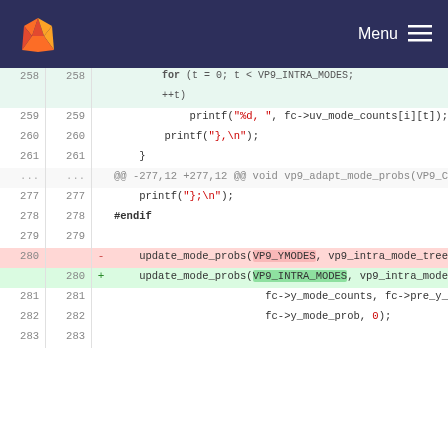GitLab navigation bar with Menu
Code diff viewer showing lines 259-283 of a C source file with changes to update_mode_probs function call, replacing VP9_YMODES with VP9_INTRA_MODES